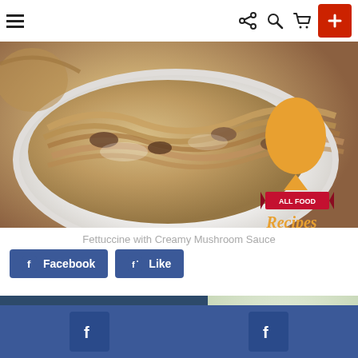Menu | Share | Search | Cart | +
[Figure (photo): Bowl of fettuccine pasta with creamy mushroom sauce, with 'All Food Recipes' logo overlay]
Fettuccine with Creamy Mushroom Sauce
Facebook | Like (social share buttons)
[Figure (photo): Dark blue panel with arrow, READ label, title 'Strawberry-Tomato Salsa', and photo of strawberry salsa in a white bowl]
Facebook social buttons footer bar